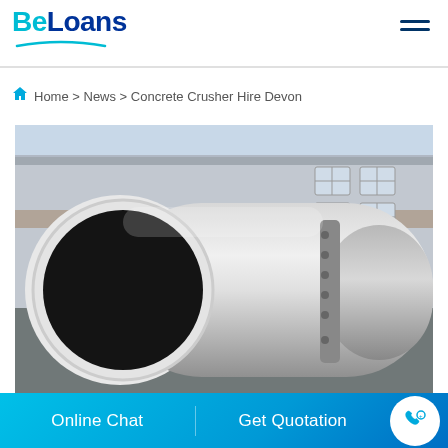BeLoans
Home > News > Concrete Crusher Hire Devon
[Figure (photo): Large industrial cylindrical drum or rotary kiln equipment photographed in front of a grey industrial building with windows. The metal cylinder is silver/steel and dominates the foreground.]
Online Chat   Get Quotation